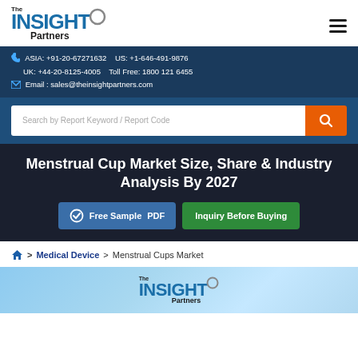[Figure (logo): The Insight Partners logo with blue INSIGHT text and circle icon]
ASIA: +91-20-67271632    US: +1-646-491-9876
UK: +44-20-8125-4005    Toll Free: 1800 121 6455
Email : sales@theinsightpartners.com
Search by Report Keyword / Report Code
Menstrual Cup Market Size, Share & Industry Analysis By 2027
Free Sample PDF    Inquiry Before Buying
> Medical Device > Menstrual Cups Market
[Figure (logo): The Insight Partners logo repeated at bottom of page on blue background]